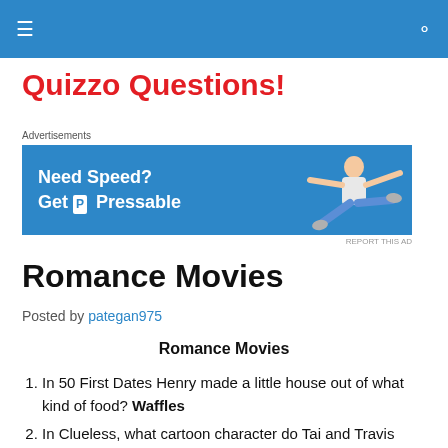≡ [hamburger] [search icon]
Quizzo Questions!
[Figure (other): Advertisement banner: Need Speed? Get Pressable — blue background with a person flying/jumping to the right]
Romance Movies
Posted by pategan975
Romance Movies
In 50 First Dates Henry made a little house out of what kind of food? Waffles
In Clueless, what cartoon character do Tai and Travis